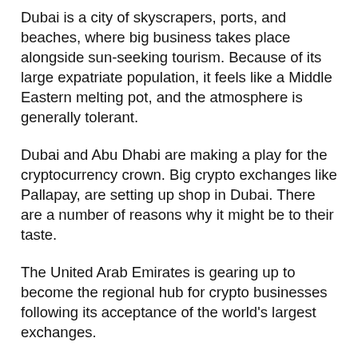Dubai is a city of skyscrapers, ports, and beaches, where big business takes place alongside sun-seeking tourism. Because of its large expatriate population, it feels like a Middle Eastern melting pot, and the atmosphere is generally tolerant.
Dubai and Abu Dhabi are making a play for the cryptocurrency crown. Big crypto exchanges like Pallapay, are setting up shop in Dubai. There are a number of reasons why it might be to their taste.
The United Arab Emirates is gearing up to become the regional hub for crypto businesses following its acceptance of the world's largest exchanges.
Pallapay is one of the first cryptocurrency OTC in Dubai, UAE, providing variety of crypto related services. Operating since 2018, Pallapay was awarded The Most Trusted Crypto